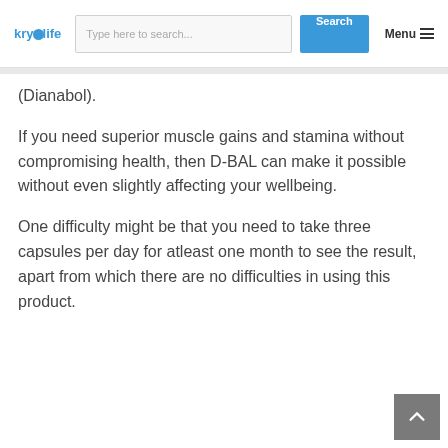krydlife | Type here to search... | Search | Menu
(Dianabol).
If you need superior muscle gains and stamina without compromising health, then D-BAL can make it possible without even slightly affecting your wellbeing.
One difficulty might be that you need to take three capsules per day for atleast one month to see the result, apart from which there are no difficulties in using this product.